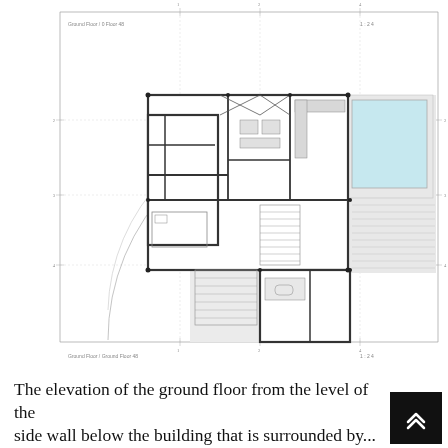[Figure (engineering-diagram): Architectural floor plan of a ground floor showing rooms, walls, furniture layout, stairs, a pool area with blue fill, circulation paths shown as arc lines, and dimension/grid lines with numerical annotations. Includes label text reading 'Ground Floor / Ground Floor 48' and similar annotation lines.]
The elevation of the ground floor from the level of the side wall below the building that is surrounded by...